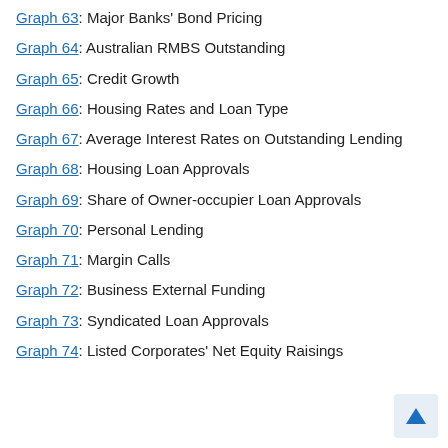Graph 63: Major Banks' Bond Pricing
Graph 64: Australian RMBS Outstanding
Graph 65: Credit Growth
Graph 66: Housing Rates and Loan Type
Graph 67: Average Interest Rates on Outstanding Lending
Graph 68: Housing Loan Approvals
Graph 69: Share of Owner-occupier Loan Approvals
Graph 70: Personal Lending
Graph 71: Margin Calls
Graph 72: Business External Funding
Graph 73: Syndicated Loan Approvals
Graph 74: Listed Corporates' Net Equity Raisings